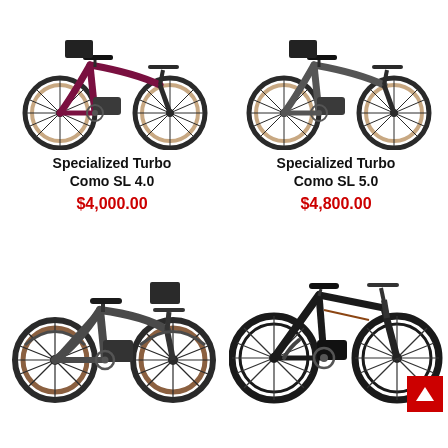[Figure (photo): Specialized Turbo Como SL 4.0 e-bike in maroon/burgundy color, step-through frame with front basket]
Specialized Turbo Como SL 4.0
$4,000.00
[Figure (photo): Specialized Turbo Como SL 5.0 e-bike in dark gray color, step-through frame with front basket]
Specialized Turbo Como SL 5.0
$4,800.00
[Figure (photo): Dark gray Specialized e-bike with step-through frame and front basket, brown tires]
[Figure (photo): Dark/black Specialized e-mountain bike with full suspension and disc brakes]